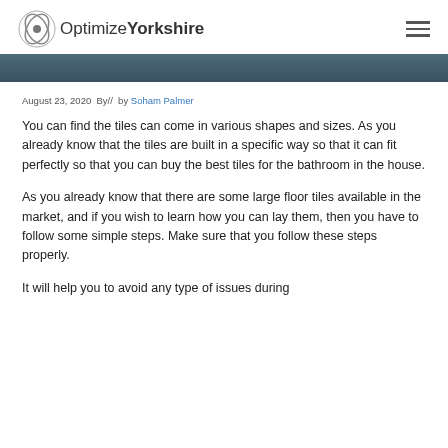Optimize Yorkshire
[Figure (photo): Dark colored hero image strip at top of article]
August 23, 2020  By//  by Soham Palmer
You can find the tiles can come in various shapes and sizes. As you already know that the tiles are built in a specific way so that it can fit perfectly so that you can buy the best tiles for the bathroom in the house.
As you already know that there are some large floor tiles available in the market, and if you wish to learn how you can lay them, then you have to follow some simple steps. Make sure that you follow these steps properly.
It will help you to avoid any type of issues during